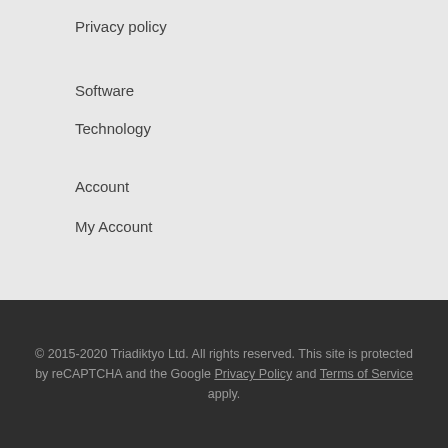Privacy policy
Software
Technology
Account
My Account
© 2015-2020 Triadiktyo Ltd. All rights reserved. This site is protected by reCAPTCHA and the Google Privacy Policy and Terms of Service apply.